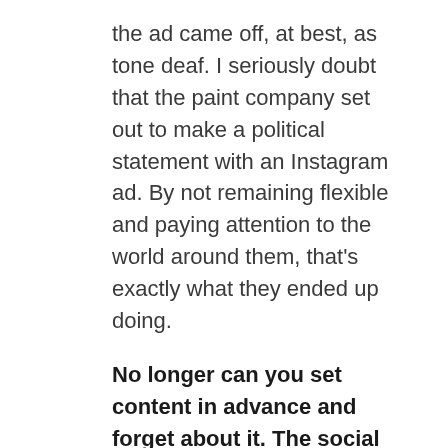the ad came off, at best, as tone deaf. I seriously doubt that the paint company set out to make a political statement with an Instagram ad. By not remaining flexible and paying attention to the world around them, that's exactly what they ended up doing.
No longer can you set content in advance and forget about it. The social media world moves too quickly for that these days.
Does that mean you shouldn't plan ahead?